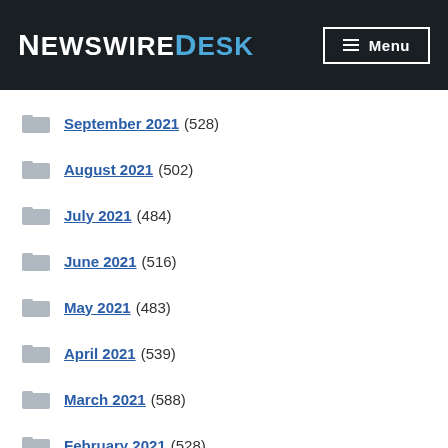NewswireDesk Menu
September 2021 (528)
August 2021 (502)
July 2021 (484)
June 2021 (516)
May 2021 (483)
April 2021 (539)
March 2021 (588)
February 2021 (528)
January 2021 (423)
December 2020 (594)